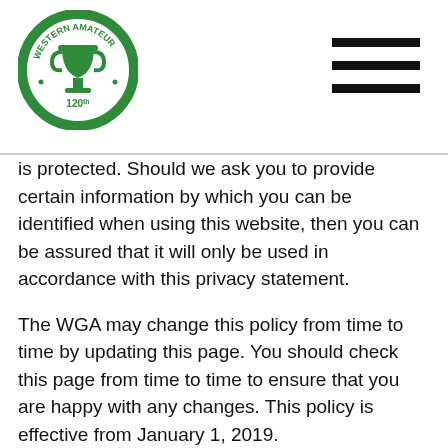[Figure (logo): Western Amateur 120th logo — circular green and white emblem with a trophy in the center]
is protected. Should we ask you to provide certain information by which you can be identified when using this website, then you can be assured that it will only be used in accordance with this privacy statement.
The WGA may change this policy from time to time by updating this page. You should check this page from time to time to ensure that you are happy with any changes. This policy is effective from January 1, 2019.
We may collect the following information:
Contact information including email address
Demographic information such as postcode, preferences and interests other information